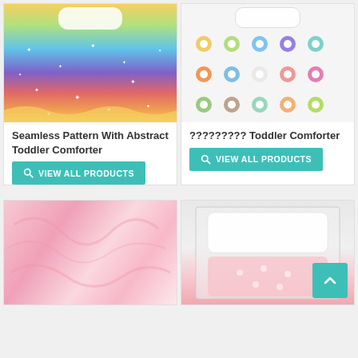[Figure (photo): Seamless rainbow pattern with abstract waves and white stars on a toddler comforter, viewed from above]
Seamless Pattern With Abstract Toddler Comforter
VIEW ALL PRODUCTS
[Figure (photo): Colorful flower pattern toddler comforter with rows of multi-colored daisy shapes on white background, viewed from above]
????????? Toddler Comforter
VIEW ALL PRODUCTS
[Figure (photo): Pink marble or silky fabric texture close-up]
[Figure (photo): White toddler comforter with pink floral design in a box, viewed from above, with a teal scroll-to-top button overlay]